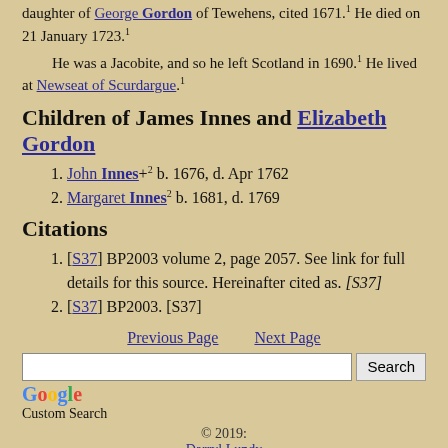daughter of George Gordon of Tewehens, cited 1671.1 He died on 21 January 1723.1
He was a Jacobite, and so he left Scotland in 1690.1 He lived at Newseat of Scurdargue.1
Children of James Innes and Elizabeth Gordon
1. John Innes+2 b. 1676, d. Apr 1762
2. Margaret Innes2 b. 1681, d. 1769
Citations
1. [S37] BP2003 volume 2, page 2057. See link for full details for this source. Hereinafter cited as. [S37]
2. [S37] BP2003. [S37]
Previous Page   Next Page
© 2019:
Darryl Lundy
Wellington, New Zealand